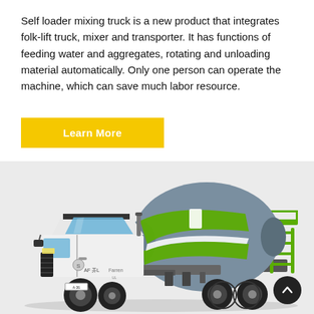Self loader mixing truck is a new product that integrates folk-lift truck, mixer and transporter. It has functions of feeding water and aggregates, rotating and unloading material automatically. Only one person can operate the machine, which can save much labor resource.
[Figure (other): Yellow 'Learn More' button]
[Figure (photo): A green and white self loader concrete mixing truck with a large rotating drum, photographed on a light grey background. The truck has a white cab, green and grey mixer drum, and green rear access ladder/platform.]